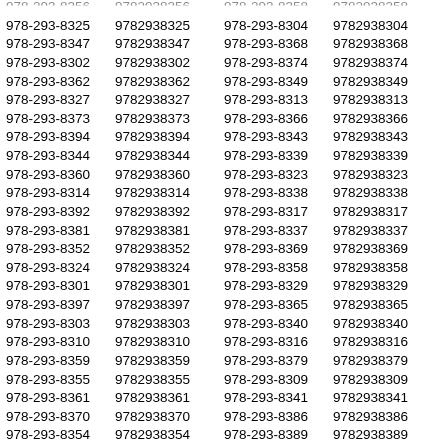978-293-8325 9782938325 978-293-8304 9782938304
978-293-8347 9782938347 978-293-8368 9782938368
978-293-8302 9782938302 978-293-8374 9782938374
978-293-8362 9782938362 978-293-8349 9782938349
978-293-8327 9782938327 978-293-8313 9782938313
978-293-8373 9782938373 978-293-8366 9782938366
978-293-8394 9782938394 978-293-8343 9782938343
978-293-8344 9782938344 978-293-8339 9782938339
978-293-8360 9782938360 978-293-8323 9782938323
978-293-8314 9782938314 978-293-8338 9782938338
978-293-8392 9782938392 978-293-8317 9782938317
978-293-8381 9782938381 978-293-8337 9782938337
978-293-8352 9782938352 978-293-8369 9782938369
978-293-8324 9782938324 978-293-8358 9782938358
978-293-8301 9782938301 978-293-8329 9782938329
978-293-8397 9782938397 978-293-8365 9782938365
978-293-8303 9782938303 978-293-8340 9782938340
978-293-8310 9782938310 978-293-8316 9782938316
978-293-8359 9782938359 978-293-8379 9782938379
978-293-8355 9782938355 978-293-8309 9782938309
978-293-8361 9782938361 978-293-8341 9782938341
978-293-8370 9782938370 978-293-8386 9782938386
978-293-8354 9782938354 978-293-8389 9782938389
978-293-8333 9782938333 978-293-8363 9782938363
978-293-8364 9782938364 978-293-8307 9782938307